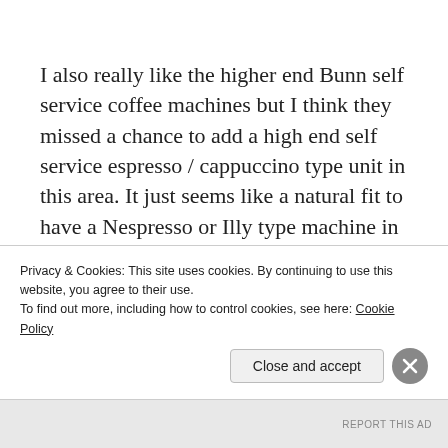I also really like the higher end Bunn self service coffee machines but I think they missed a chance to add a high end self service espresso / cappuccino type unit in this area. It just seems like a natural fit to have a Nespresso or Illy type machine in addition to what they have on offer. Not a big deal though.
This Avid hotel has a 24 hour fitness center
Privacy & Cookies: This site uses cookies. By continuing to use this website, you agree to their use.
To find out more, including how to control cookies, see here: Cookie Policy